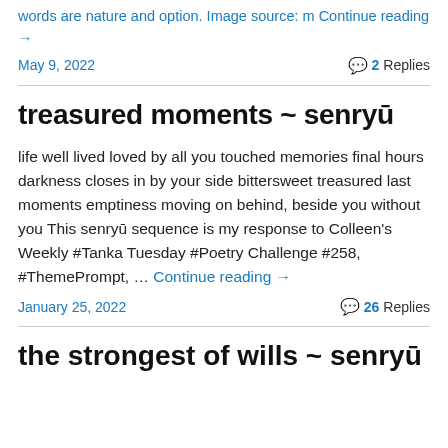words are nature and option. Image source: m Continue reading →
May 9, 2022    💬 2 Replies
treasured moments ~ senryū
life well lived loved by all you touched memories final hours darkness closes in by your side bittersweet treasured last moments emptiness moving on behind, beside you without you This senryū sequence is my response to Colleen's Weekly #Tanka Tuesday #Poetry Challenge #258, #ThemePrompt, … Continue reading →
January 25, 2022    💬 26 Replies
the strongest of wills ~ senryū